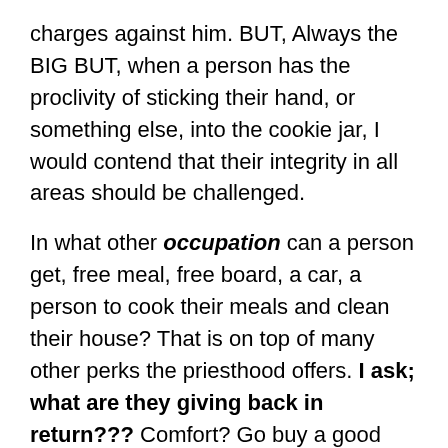charges against him. BUT, Always the BIG BUT, when a person has the proclivity of sticking their hand, or something else, into the cookie jar, I would contend that their integrity in all areas should be challenged.
In what other occupation can a person get, free meal, free board, a car, a person to cook their meals and clean their house? That is on top of many other perks the priesthood offers. I ask; what are they giving back in return??? Comfort? Go buy a good mattress and pillow.
The priesthood has been like a fabulous buffet for gay men to have access to young kids.
Rev. Donald B. Cozzens wrote a book a few years back suggesting that as much as 58 percent of priests were gay, and the percentages were even higher for younger